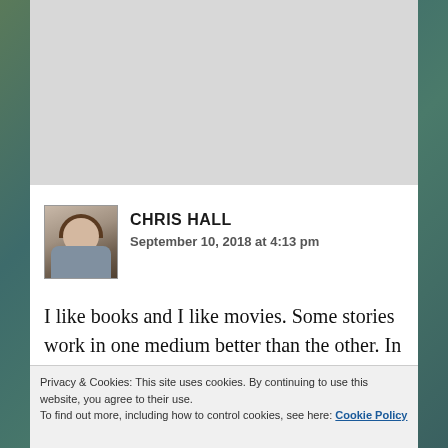[Figure (photo): Decorative background with winter forest/trees in blue-green tones on left and right sides of page]
[Figure (photo): Avatar photo of Chris Hall — person with short dark hair, chin resting on hand, bookshelves in background]
CHRIS HALL
September 10, 2018 at 4:13 pm
I like books and I like movies. Some stories work in one medium better than the other. In general, I find it's better to see the movie first, because if you read the book, you've already pictured the characters and I often
Privacy & Cookies: This site uses cookies. By continuing to use this website, you agree to their use.
To find out more, including how to control cookies, see here: Cookie Policy
Close and accept